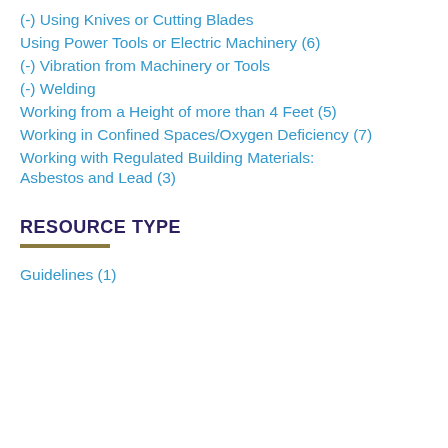(-) Using Knives or Cutting Blades
Using Power Tools or Electric Machinery (6)
(-) Vibration from Machinery or Tools
(-) Welding
Working from a Height of more than 4 Feet (5)
Working in Confined Spaces/Oxygen Deficiency (7)
Working with Regulated Building Materials: Asbestos and Lead (3)
RESOURCE TYPE
Guidelines (1)